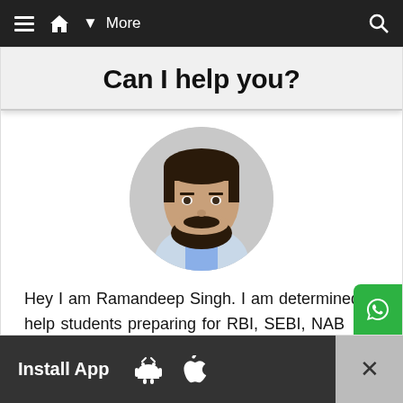≡  ⌂  ▾ More  🔍
Can I help you?
[Figure (photo): Circular profile photo of a bearded man in a suit]
Hey I am Ramandeep Singh. I am determined to help students preparing for RBI, SEBI, NABARD and IBPS exams. Do you want me to help you ?
Install App  [Android icon]  [Apple icon]  ✕